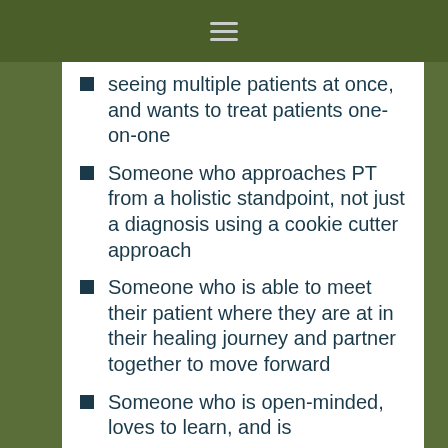☰
seeing multiple patients at once, and wants to treat patients one-on-one
Someone who approaches PT from a holistic standpoint, not just a diagnosis using a cookie cutter approach
Someone who is able to meet their patient where they are at in their healing journey and partner together to move forward
Someone who is open-minded, loves to learn, and is